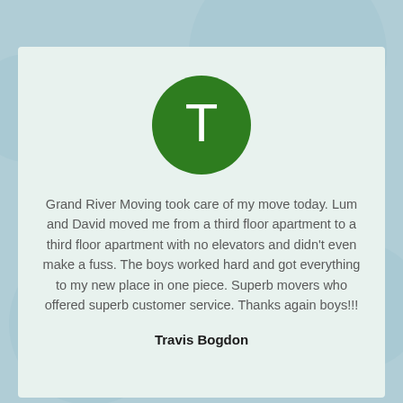[Figure (illustration): Green circle avatar with white letter T in the center]
Grand River Moving took care of my move today. Lum and David moved me from a third floor apartment to a third floor apartment with no elevators and didn't even make a fuss. The boys worked hard and got everything to my new place in one piece. Superb movers who offered superb customer service. Thanks again boys!!!
Travis Bogdon